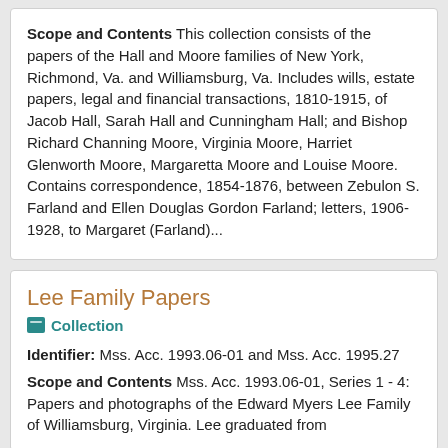Scope and Contents This collection consists of the papers of the Hall and Moore families of New York, Richmond, Va. and Williamsburg, Va. Includes wills, estate papers, legal and financial transactions, 1810-1915, of Jacob Hall, Sarah Hall and Cunningham Hall; and Bishop Richard Channing Moore, Virginia Moore, Harriet Glenworth Moore, Margaretta Moore and Louise Moore. Contains correspondence, 1854-1876, between Zebulon S. Farland and Ellen Douglas Gordon Farland; letters, 1906-1928, to Margaret (Farland)...
Lee Family Papers
Collection
Identifier: Mss. Acc. 1993.06-01 and Mss. Acc. 1995.27
Scope and Contents Mss. Acc. 1993.06-01, Series 1 - 4: Papers and photographs of the Edward Myers Lee Family of Williamsburg, Virginia. Lee graduated from